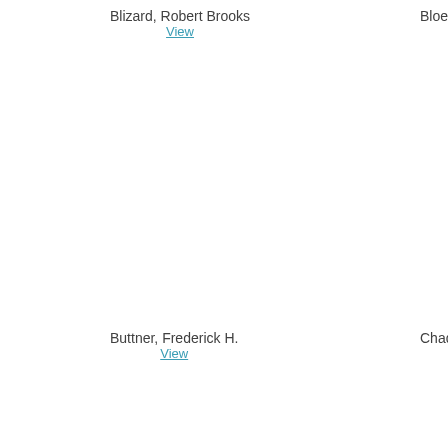Blizard, Robert Brooks
View
Bloec
Buttner, Frederick H.
View
Chado